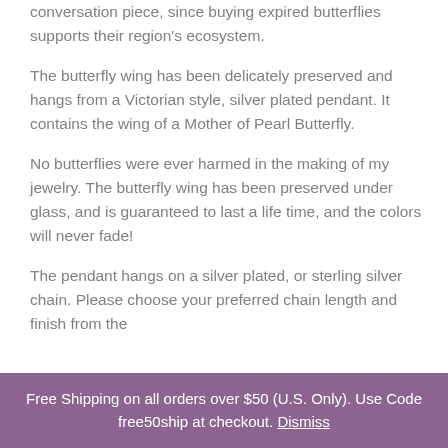conversation piece, since buying expired butterflies supports their region's ecosystem.
The butterfly wing has been delicately preserved and hangs from a Victorian style, silver plated pendant. It contains the wing of a Mother of Pearl Butterfly.
No butterflies were ever harmed in the making of my jewelry. The butterfly wing has been preserved under glass, and is guaranteed to last a life time, and the colors will never fade!
The pendant hangs on a silver plated, or sterling silver chain. Please choose your preferred chain length and finish from the
Free Shipping on all orders over $50 (U.S. Only). Use Code free50ship at checkout. Dismiss